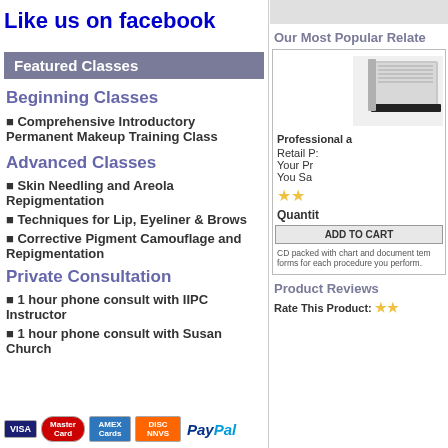Like us on facebook
Featured Classes
Beginning Classes
Comprehensive Introductory Permanent Makeup Training Class
Advanced Classes
Skin Needling and Areola Repigmentation
Techniques for Lip, Eyeliner & Brows
Corrective Pigment Camouflage and Repigmentation
Private Consultation
1 hour phone consult with IIPC Instructor
1 hour phone consult with Susan Church
[Figure (screenshot): Payment icons: Visa, MasterCard, American Express, Discover, PayPal]
Our Most Popular Relate
[Figure (photo): Product image - appears to be a CD or disc product]
Professional a
Retail P: Your Pr You Sa
Quantity
ADD TO CART
CD packed with chart and document tem forms for each procedure you perform.
Product Reviews
Rate This Product: